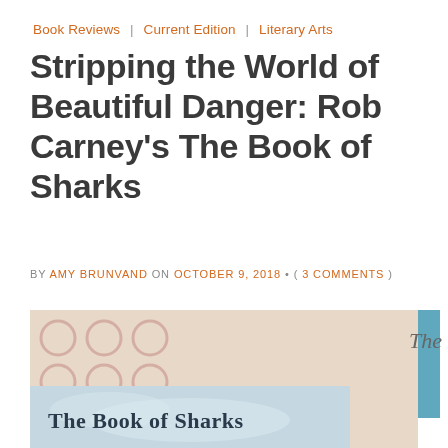Book Reviews | Current Edition | Literary Arts
Stripping the World of Beautiful Danger: Rob Carney’s The Book of Sharks
BY AMY BRUNVAND ON OCTOBER 9, 2018 • ( 3 COMMENTS )
[Figure (photo): Book cover of 'The Book of Sharks' showing circular motifs on a tan background with a sky-blue lower panel containing the title text in serif font, plus a blue vertical strip on the right edge. The text 'The' appears to the right of the image.]